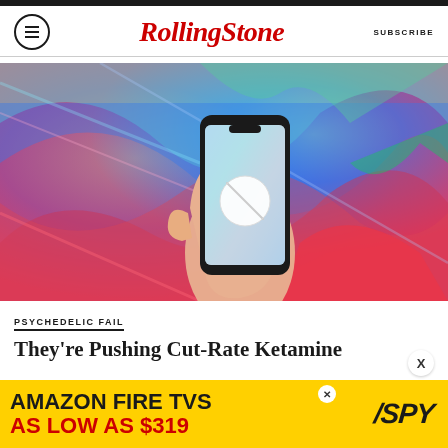Rolling Stone — SUBSCRIBE
[Figure (photo): A hand holding a smartphone with a white pill displayed on its screen, set against a colorful swirling psychedelic background of blue, green, red, and pink hues.]
PSYCHEDELIC FAIL
They're Pushing Cut-Rate Ketamine
[Figure (photo): Advertisement banner: AMAZON FIRE TVS AS LOW AS $319, with SPY logo on yellow background.]